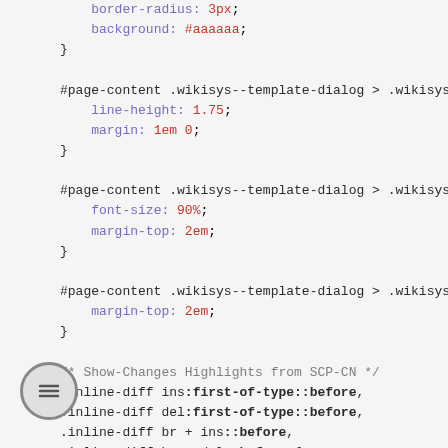CSS code snippet showing border-radius, background, #page-content .wikisys--template-dialog rules, inline-diff show-changes highlights from SCP-CN with display, font, text-rendering, webkit/moz font-smoothing, content, position, left properties, and .inline-diff ins::before color rule.